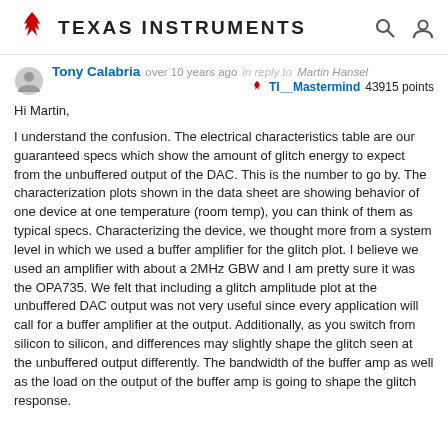Texas Instruments
Tony Calabria  over 10 years ago  in reply to  Martin Hansel
TI__Mastermind 43915 points
Hi Martin,

I understand the confusion. The electrical characteristics table are our guaranteed specs which show the amount of glitch energy to expect from the unbuffered output of the DAC. This is the number to go by. The characterization plots shown in the data sheet are showing behavior of one device at one temperature (room temp), you can think of them as typical specs. Characterizing the device, we thought more from a system level in which we used a buffer amplifier for the glitch plot. I believe we used an amplifier with about a 2MHz GBW and I am pretty sure it was the OPA735. We felt that including a glitch amplitude plot at the unbuffered DAC output was not very useful since every application will call for a buffer amplifier at the output. Additionally, as you switch from silicon to silicon, and differences may slightly shape the glitch seen at the unbuffered output differently. The bandwidth of the buffer amp as well as the load on the output of the buffer amp is going to shape the glitch response.